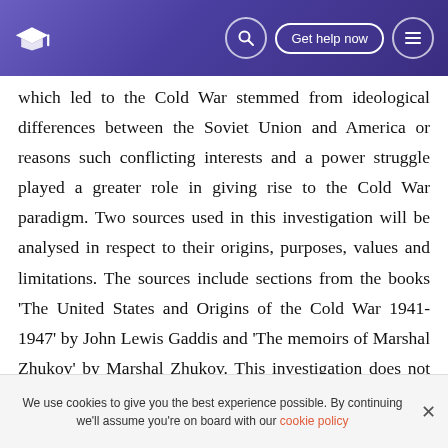Get help now
which led to the Cold War stemmed from ideological differences between the Soviet Union and America or reasons such conflicting interests and a power struggle played a greater role in giving rise to the Cold War paradigm. Two sources used in this investigation will be analysed in respect to their origins, purposes, values and limitations. The sources include sections from the books ‘The United States and Origins of the Cold War 1941-1947’ by John Lewis Gaddis and ‘The memoirs of Marshal Zhukov’ by Marshal Zhukov. This investigation does not assess the events which escalated the Cold War tensions rather only
We use cookies to give you the best experience possible. By continuing we’ll assume you’re on board with our cookie policy